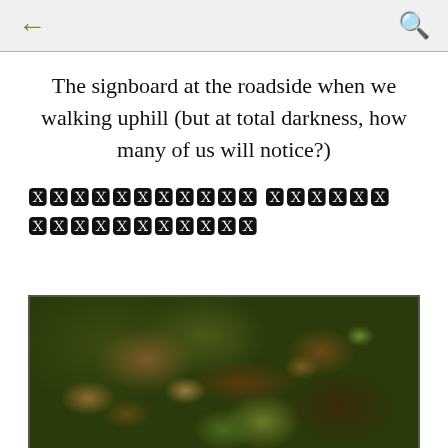← (back) (search)
The signboard at the roadside when we walking uphill (but at total darkness, how many of us will notice?)
[redacted text - obscured characters]
[Figure (photo): Close-up photograph of a forest floor showing moss-covered rocks and dead leaves in dark nighttime conditions]